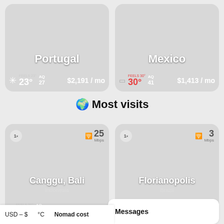Portugal
FEELS 23° 23° AQ 27 $2,191 / mo
Mexico
FEELS 30° 30° AQ 41 $1,413 / mo
🌍 Most visits
Canggu, Bali
Indonesia
1x 25 Mbps FEELS 31° 28° AQ 25 $1,511 / mo
Florianopolis
Brazil
1x 3 Mbps
Messages
USD – $ °C Nomad cost